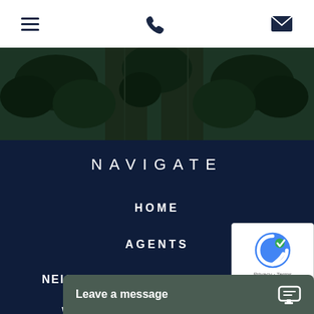Navigation bar with hamburger menu, phone icon, and email icon
[Figure (photo): Aerial view of a palm tree lined road/boulevard, dark green trees viewed from above]
NAVIGATE
HOME
AGENTS
NEIGHBORHOODS PROFILE
WHY
[Figure (other): reCAPTCHA logo with Privacy and Terms text]
Leave a message